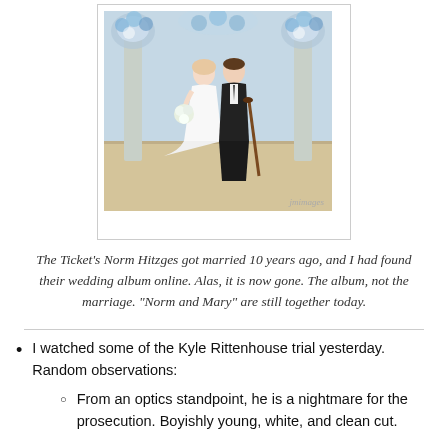[Figure (photo): Wedding photo of a couple (bride in white dress with bouquet, groom in dark suit with cane) standing before floral arrangements. Watermark reads 'jmimages'.]
The Ticket's Norm Hitzges got married 10 years ago, and I had found their wedding album online. Alas, it is now gone. The album, not the marriage. "Norm and Mary" are still together today.
I watched some of the Kyle Rittenhouse trial yesterday.  Random observations:
From an optics standpoint, he is a nightmare for the prosecution. Boyishly young, white, and clean cut.